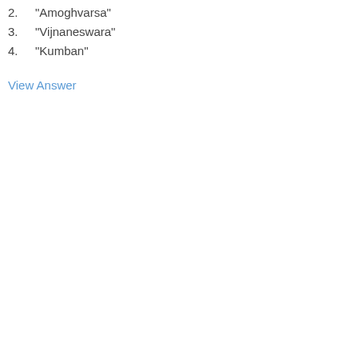2. "Amoghvarsa"
3. "Vijnaneswara"
4. "Kumban"
View Answer